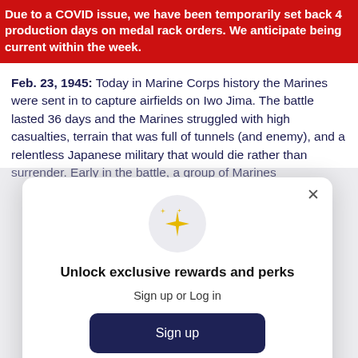Due to a COVID issue, we have been temporarily set back 4 production days on medal rack orders. We anticipate being current within the week.
Feb. 23, 1945: Today in Marine Corps history the Marines were sent in to capture airfields on Iwo Jima. The battle lasted 36 days and the Marines struggled with high casualties, terrain that was full of tunnels (and enemy), and a relentless Japanese military that would die rather than surrender. Early in the battle, a group of Marines
[Figure (screenshot): Modal dialog with sparkle icon, title 'Unlock exclusive rewards and perks', subtitle 'Sign up or Log in', a dark navy Sign up button, and a 'Already have an account? Sign in' link. A close (×) button is in the top right corner.]